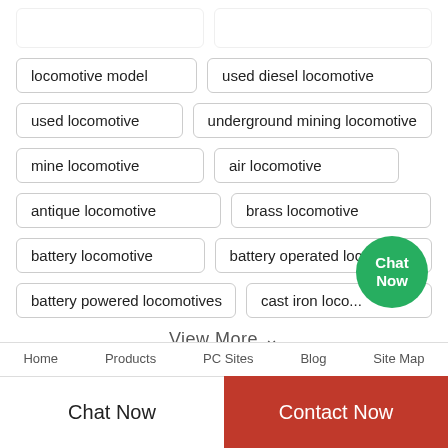locomotive model
used diesel locomotive
used locomotive
underground mining locomotive
mine locomotive
air locomotive
antique locomotive
brass locomotive
battery locomotive
battery operated locomotive
battery powered locomotives
cast iron locomotive
View More
Home   Products   PC Sites   Blog   Site Map
Chat Now
Contact Now
Chat Now